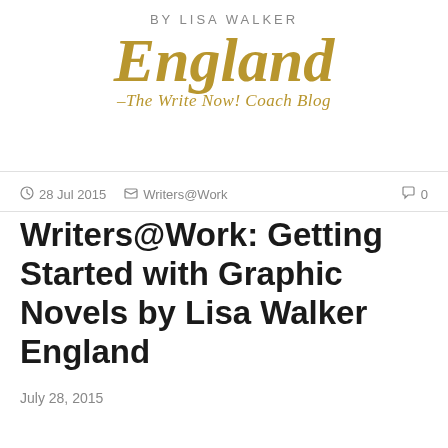BY LISA WALKER England – The Write Now! Coach Blog
28 Jul 2015   Writers@Work   0
Writers@Work: Getting Started with Graphic Novels by Lisa Walker England
July 28, 2015